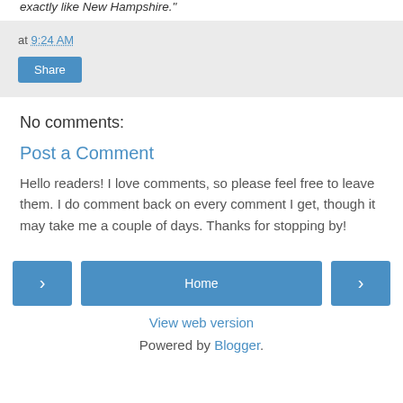exactly like New Hampshire."
at 9:24 AM
Share
No comments:
Post a Comment
Hello readers! I love comments, so please feel free to leave them. I do comment back on every comment I get, though it may take me a couple of days. Thanks for stopping by!
< Home >
View web version
Powered by Blogger.